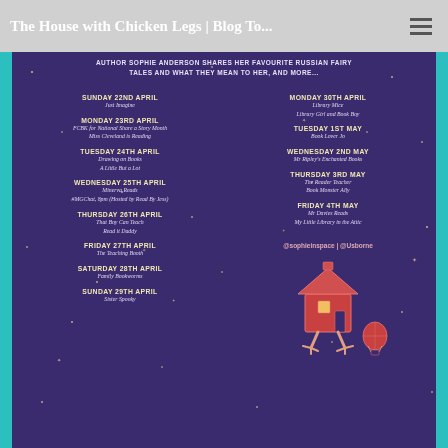The House with Chicken Legs | Blog To...
AUTHOR SOPHIE ANDERSON SHARES HER FAVOURITE RUSSIAN FAIRY TALES AND WHAT THEY MEAN TO HER, AND MORE...
SUNDAY 22ND APRIL
Just Imagine
MONDAY 23RD APRIL
FCBK for National Share a Story Month
Miss Cleveland is Reading
TUESDAY 24TH APRIL
Drawing on Books
A Little But a Lot
WEDNESDAY 25TH APRIL
Minerva Reads
#MGChat, 8pm (Hosted by Read By Jess)
THURSDAY 26TH APRIL
That Boy Can Teach
Read it Daddy
FRIDAY 27TH APRIL
The Teaching Booth
SATURDAY 28TH APRIL
Family Bookworms
SUNDAY 29TH APRIL
Sister Spooky
MONDAY 30TH APRIL
Library Mice
Library Girl and Book Boy
TUESDAY 1ST MAY
Book Lover Jo
WEDNESDAY 2ND MAY
Mr Ripley's Enchanted Books
THURSDAY 3RD MAY
The Reader Teacher
Book Monster Ally
FRIDAY 4TH MAY
Mr Davies Reads
My Little Library in the Attic
@sophieinspace | @Usborne
[Figure (illustration): Illustrated house with chicken legs (Baba Yaga's house) character with a hot air balloon in the corner, red and pink tones]